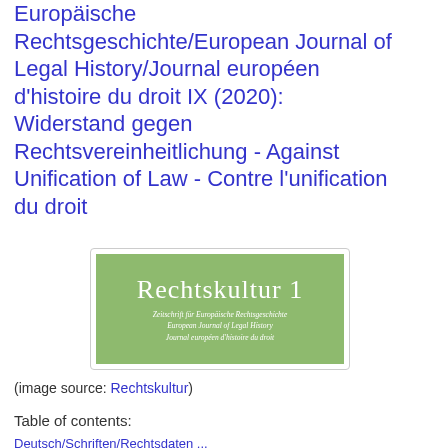Europäische Rechtsgeschichte/European Journal of Legal History/Journal européen d'histoire du droit IX (2020): Widerstand gegen Rechtsvereinheitlichung - Against Unification of Law - Contre l'unification du droit
[Figure (logo): Cover image of Rechtskultur 1 journal - green rectangle with white text showing 'Rechtskultur 1' and subtitle 'Zeitschrift für Europäische Rechtsgeschichte / European Journal of Legal History / Journal européen d'histoire du droit']
(image source: Rechtskultur)
Table of contents:
Deutsch/Schriften/Rechtsdaten ...